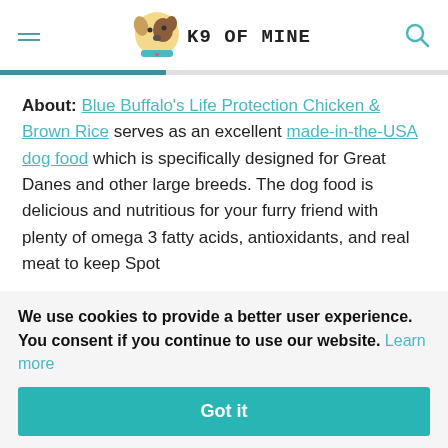K9 OF MINE
About: Blue Buffalo's Life Protection Chicken & Brown Rice serves as an excellent made-in-the-USA dog food which is specifically designed for Great Danes and other large breeds. The dog food is delicious and nutritious for your furry friend with plenty of omega 3 fatty acids, antioxidants, and real meat to keep Spot
We use cookies to provide a better user experience. You consent if you continue to use our website. Learn more
Got it
out
corn, wheat, or soy